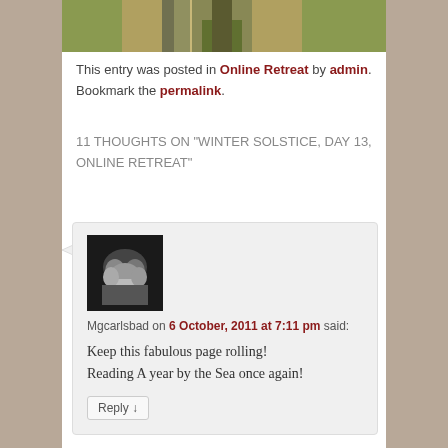[Figure (photo): Top portion of a person standing outdoors on grass, wearing grey trousers]
This entry was posted in Online Retreat by admin. Bookmark the permalink.
11 THOUGHTS ON "WINTER SOLSTICE, DAY 13, ONLINE RETREAT"
[Figure (photo): Black and white photo of hands clasped together]
Mgcarlsbad on 6 October, 2011 at 7:11 pm said:
Keep this fabulous page rolling!
Reading A year by the Sea once again!
Reply ↓